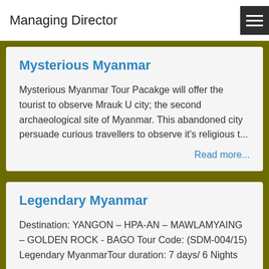Managing Director
Mysterious Myanmar
Mysterious Myanmar Tour Pacakge will offer the tourist to observe Mrauk U city; the second archaeological site of Myanmar. This abandoned city persuade curious travellers to observe it's religious t...
Read more...
Legendary Myanmar
Destination: YANGON – HPA-AN – MAWLAMYAING – GOLDEN ROCK - BAGO Tour Code: (SDM-004/15) Legendary MyanmarTour duration: 7 days/ 6 Nights
Read more...